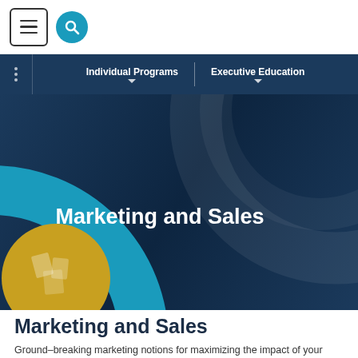[Figure (screenshot): Top navigation bar with hamburger menu button and teal circular search button on white background]
Individual Programs | Executive Education
[Figure (illustration): Hero banner with dark navy blue background, teal arc, gold circular element on left, and 'Marketing and Sales' text in white]
Marketing and Sales
Ground-breaking marketing notions for maximizing the impact of your marketing channels and optimizing sales performance.